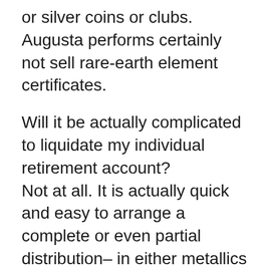or silver coins or clubs. Augusta performs certainly not sell rare-earth element certificates.
Will it be actually complicated to liquidate my individual retirement account? Not at all. It is actually quick and easy to arrange a complete or even partial distribution– in either metallics or even cash money– from your gold individual retirement account. Our team can take out the steels on your behalf and cable the money to your custodian as well as they will certainly transmit funds to you. You can easily ask for shipment of your metals directly to you via your manager. You may coordinate along with your protector to pick up the steels at the storage space center for circulation.